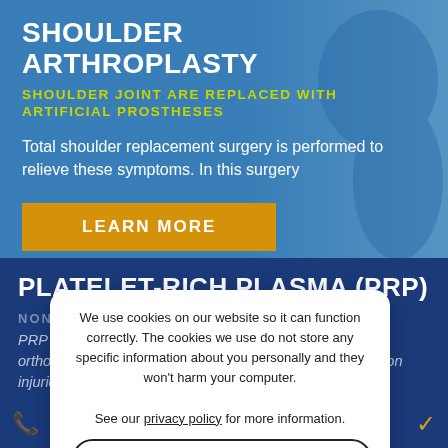SHOULDER ARTHROPLASTY
SHOULDER JOINT ARE REPLACED WITH ARTIFICIAL PROSTHESES
Total shoulder replacement surgery is performed to relieve these symptoms. In this surgery
LEARN MORE
PLATELET-RICH PLASMA (PRP)
NONSURGICAL ORTHOBIOLOGIC THERAPIES
PRP is a relatively new method of treatment for several orthopedic conditions such as muscle, ligament, and tendon injuries.
We use cookies on our website so it can function correctly. The cookies we use do not store any specific information about you personally and they won't harm your computer.

See our privacy policy for more information.
Accept
BOOK AN APPOINTMENT